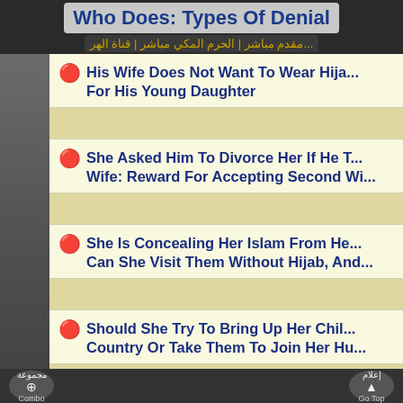Who Does: Types Of Denial
His Wife Does Not Want To Wear Hijab For His Young Daughter
She Asked Him To Divorce Her If He Took A Second Wife: Reward For Accepting Second Wi...
She Is Concealing Her Islam From He... Can She Visit Them Without Hijab, And...
Should She Try To Bring Up Her Chil... Country Or Take Them To Join Her Hu...
He Formed A Relationship With A Gir... And He Wants Her To Get Divorced So ... Marry Her